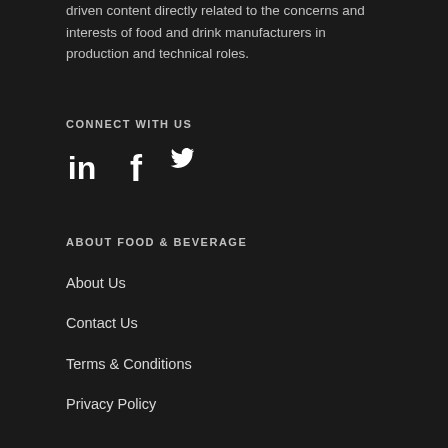driven content directly related to the concerns and interests of food and drink manufacturers in production and technical roles.
CONNECT WITH US
[Figure (illustration): Social media icons: LinkedIn, Facebook, Twitter in white on dark background]
ABOUT FOOD & BEVERAGE
About Us
Contact Us
Terms & Conditions
Privacy Policy